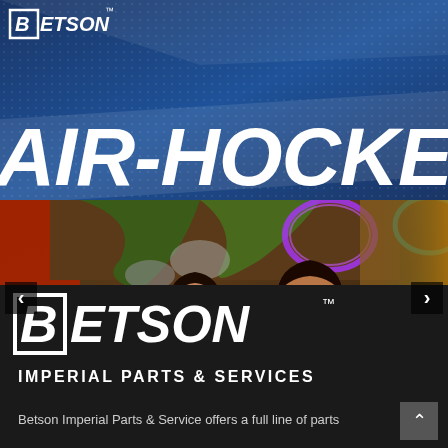[Figure (logo): BETSON logo in white italic bold font on dark blue banner background with dot pattern]
AIR-HOCKEY
[Figure (photo): Photo of a smiling young man and woman at an arcade, colorful ceiling lights visible, carousel navigation arrows on left and right]
[Figure (logo): Large BETSON logo in white italic bold font with boxed B letter and trademark symbol]
IMPERIAL PARTS & SERVICES
Betson Imperial Parts & Service offers a full line of parts